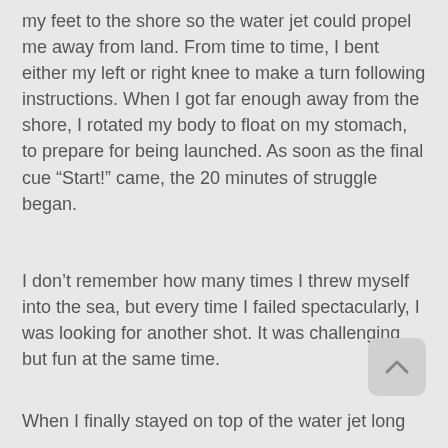my feet to the shore so the water jet could propel me away from land. From time to time, I bent either my left or right knee to make a turn following instructions. When I got far enough away from the shore, I rotated my body to float on my stomach, to prepare for being launched. As soon as the final cue “Start!” came, the 20 minutes of struggle began.
I don’t remember how many times I threw myself into the sea, but every time I failed spectacularly, I was looking for another shot. It was challenging but fun at the same time.
When I finally stayed on top of the water jet long